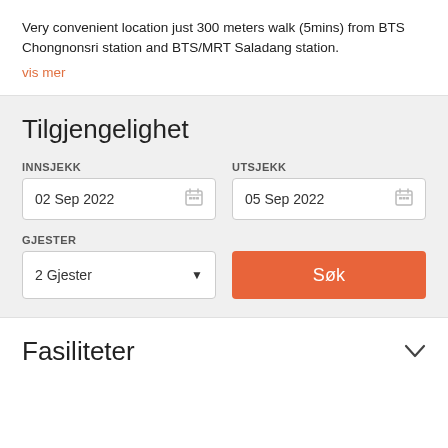Very convenient location just 300 meters walk (5mins) from BTS Chongnonsri station and BTS/MRT Saladang station.
vis mer
Tilgjengelighet
INNSJEKK
02 Sep 2022
UTSJEKK
05 Sep 2022
GJESTER
2 Gjester
Søk
Fasiliteter